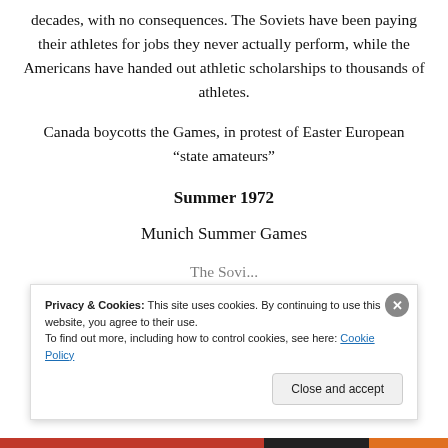decades, with no consequences. The Soviets have been paying their athletes for jobs they never actually perform, while the Americans have handed out athletic scholarships to thousands of athletes.
Canada boycotts the Games, in protest of Easter European “state amateurs”
Summer 1972
Munich Summer Games
The Sovi...
Privacy & Cookies: This site uses cookies. By continuing to use this website, you agree to their use.
To find out more, including how to control cookies, see here: Cookie Policy